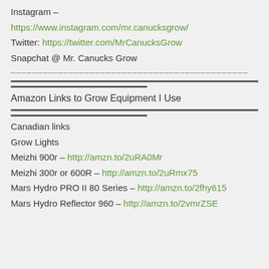Instagram –
https://www.instagram.com/mr.canucksgrow/
Twitter: https://twitter.com/MrCanucksGrow
Snapchat @ Mr. Canucks Grow
—————————————————————————————
Amazon Links to Grow Equipment I Use
Canadian links
Grow Lights
Meizhi 900r – http://amzn.to/2uRA0Mr
Meizhi 300r or 600R – http://amzn.to/2uRmx75
Mars Hydro PRO II 80 Series – http://amzn.to/2fhy615
Mars Hydro Reflector 960 – http://amzn.to/2vmrZSE